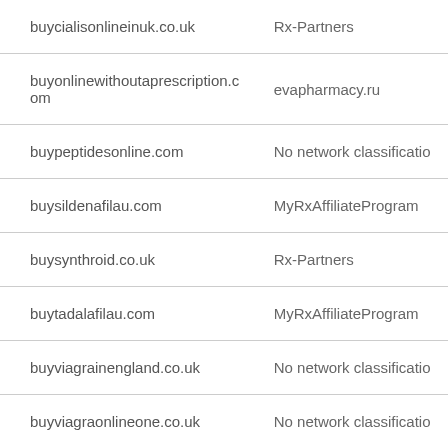| Domain | Network |
| --- | --- |
| buycialisonlineinuk.co.uk | Rx-Partners |
| buyonlinewithoutaprescription.com | evapharmacy.ru |
| buypeptidesonline.com | No network classification |
| buysildenafilau.com | MyRxAffiliateProgram |
| buysynthroid.co.uk | Rx-Partners |
| buytadalafilau.com | MyRxAffiliateProgram |
| buyviagrainengland.co.uk | No network classification |
| buyviagraonlineone.co.uk | No network classification |
| checksafe.biz | MedsPartners |
| cjalis-comprar.net | Rx-Partners |